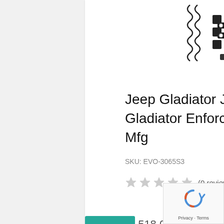[Figure (photo): Product image of a Jeep lift kit showing springs, control arms, and other suspension components on a white background]
Jeep Gladiator JT 6.5 Inch Lift Kit 2020-Pres Gladiator Enforcer Overland Lift Stage 3 EVO Mfg
SKU: EVO-3065S3
★★★★★ (0 reviews)
$2,518.04 $2,398.13